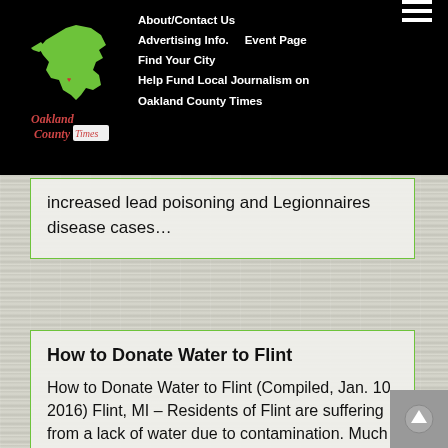Oakland County Times | About/Contact Us | Advertising Info. | Event Page | Find Your City | Help Fund Local Journalism on Oakland County Times
increased lead poisoning and Legionnaires disease cases…
How to Donate Water to Flint
How to Donate Water to Flint (Compiled, Jan. 10, 2016) Flint, MI – Residents of Flint are suffering from a lack of water due to contamination. Much has been written about the causes of the dangerous, lead-contaminated water, the question on many people's minds is how to help. The Rachael